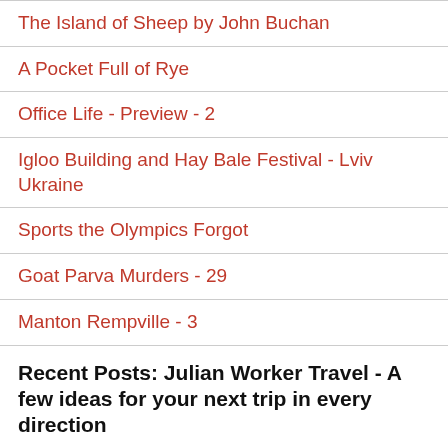The Island of Sheep by John Buchan
A Pocket Full of Rye
Office Life - Preview - 2
Igloo Building and Hay Bale Festival - Lviv Ukraine
Sports the Olympics Forgot
Goat Parva Murders - 29
Manton Rempville - 3
Recent Posts: Julian Worker Travel - A few ideas for your next trip in every direction
Romans, Druids and Camelot: